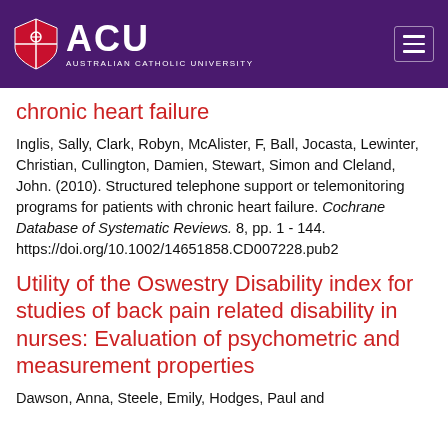[Figure (logo): ACU (Australian Catholic University) logo and navigation header with purple background and hamburger menu icon]
chronic heart failure
Inglis, Sally, Clark, Robyn, McAlister, F, Ball, Jocasta, Lewinter, Christian, Cullington, Damien, Stewart, Simon and Cleland, John. (2010). Structured telephone support or telemonitoring programs for patients with chronic heart failure. Cochrane Database of Systematic Reviews. 8, pp. 1 - 144. https://doi.org/10.1002/14651858.CD007228.pub2
Utility of the Oswestry Disability index for studies of back pain related disability in nurses: Evaluation of psychometric and measurement properties
Dawson, Anna, Steele, Emily, Hodges, Paul and